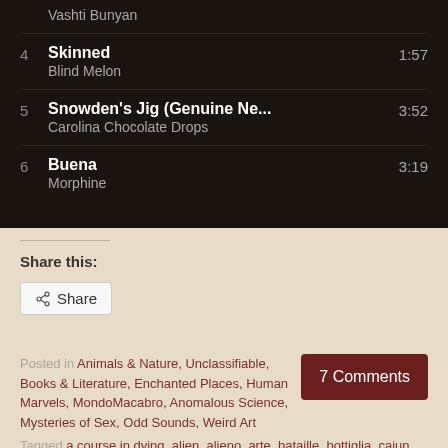| # | Title / Artist | Duration |
| --- | --- | --- |
|  | Vashti Bunyan |  |
| 4 | Skinned / Blind Melon | 1:57 |
| 5 | Snowden's Jig (Genuine Ne... / Carolina Chocolate Drops | 3:52 |
| 6 | Buena / Morphine | 3:19 |
Share this:
Share
Posted in Animals & Nature, Unclassifiable, Books & Literature, Enchanted Places, Human Marvels, MondoMacabro, Anomalous Science, Mysteries of Sex, Odd Sounds, Weird Art
7 Comments
Tagged a course in dying, alien, alieno, arte, bataille, bottiglia, cajun, capra, carlo vannini, chung ling soo, codice dell'oro, courir, curiosità, curiosity, damasco,